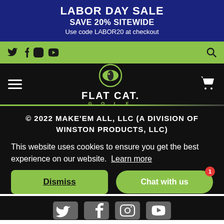LABOR DAY SALE
SAVE 20% SITEWIDE
Use code LABOR20 at checkout
Social icons bar with Twitter, Facebook, Instagram, YouTube, and Search
[Figure (logo): Flat Cat Golf logo with cat eye emblem, white FLAT CAT. text, green GOLF text on black background]
© 2022 MAKE'EM ALL, LLC (A DIVISION OF WINSTON PRODUCTS, LLC)
This website uses cookies to ensure you get the best experience on our website. Learn more
Dismiss
Chat with us 1